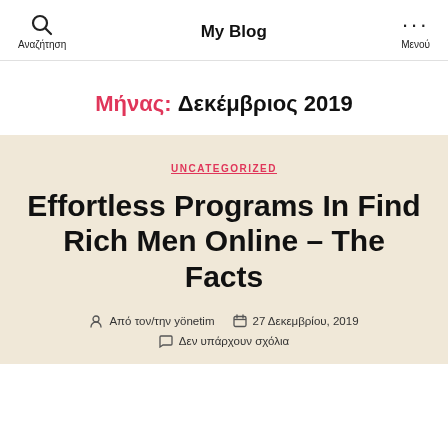My Blog
Μήνας: Δεκέμβριος 2019
UNCATEGORIZED
Effortless Programs In Find Rich Men Online – The Facts
Από τον/την yönetim   27 Δεκεμβρίου, 2019   Δεν υπάρχουν σχόλια